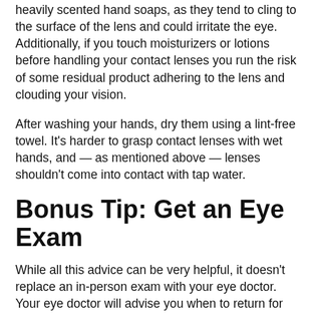heavily scented hand soaps, as they tend to cling to the surface of the lens and could irritate the eye. Additionally, if you touch moisturizers or lotions before handling your contact lenses you run the risk of some residual product adhering to the lens and clouding your vision.
After washing your hands, dry them using a lint-free towel. It's harder to grasp contact lenses with wet hands, and — as mentioned above — lenses shouldn't come into contact with tap water.
Bonus Tip: Get an Eye Exam
While all this advice can be very helpful, it doesn't replace an in-person exam with your eye doctor. Your eye doctor will advise you when to return for